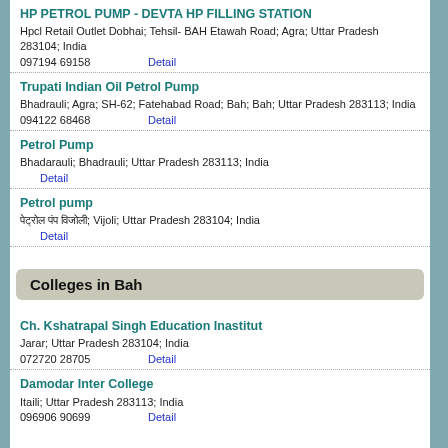HP PETROL PUMP - DEVTA HP FILLING STATION
Hpcl Retail Outlet Dobhai; Tehsil- BAH Etawah Road; Agra; Uttar Pradesh 283104; India
097194 69158    Detail
Trupati Indian Oil Petrol Pump
Bhadrauli; Agra; SH-62; Fatehabad Road; Bah; Bah; Uttar Pradesh 283113; India
094122 68468    Detail
Petrol Pump
Bhadarauli; Bhadrauli; Uttar Pradesh 283113; India
    Detail
Petrol pump
पेट्रोल पंप; Vijoli; Uttar Pradesh 283104; India
    Detail
Colleges in Bah
Ch. Kshatrapal Singh Education Inastitut
Jarar; Uttar Pradesh 283104; India
072720 28705    Detail
Damodar Inter College
Itaili; Uttar Pradesh 283113; India
096906 90699    Detail